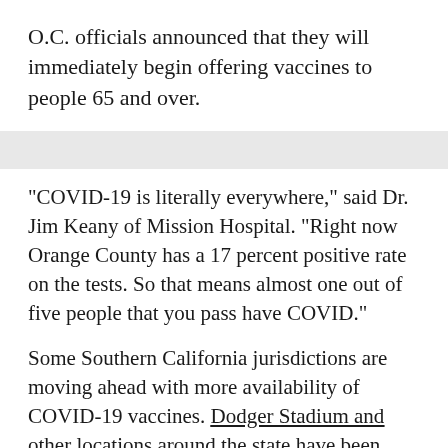O.C. officials announced that they will immediately begin offering vaccines to people 65 and over.
"COVID-19 is literally everywhere," said Dr. Jim Keany of Mission Hospital. "Right now Orange County has a 17 percent positive rate on the tests. So that means almost one out of five people that you pass have COVID."
Some Southern California jurisdictions are moving ahead with more availability of COVID-19 vaccines. Dodger Stadium and other locations around the state have been tapped to serve as mass vaccination sites.